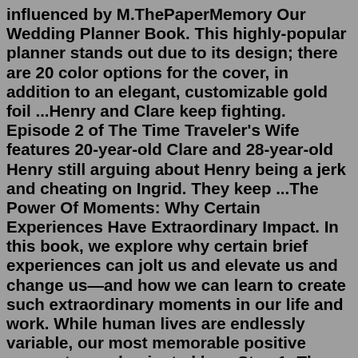influenced by M.ThePaperMemory Our Wedding Planner Book. This highly-popular planner stands out due to its design; there are 20 color options for the cover, in addition to an elegant, customizable gold foil ...Henry and Clare keep fighting. Episode 2 of The Time Traveler's Wife features 20-year-old Clare and 28-year-old Henry still arguing about Henry being a jerk and cheating on Ingrid. They keep ...The Power Of Moments: Why Certain Experiences Have Extraordinary Impact. In this book, we explore why certain brief experiences can jolt us and elevate us and change us—and how we can learn to create such extraordinary moments in our life and work. While human lives are endlessly variable, our most memorable positive moments are dominated by ...Step 1: The explanation for the correct options: Given : Total number of pages = 366. Total number of digits = Number of digits in 1 - digit page numbers + Number of digits in 2 - digit page numbers + Number of digits in 3 - digit page numbers. = ( 1 × 9 + 2 × 90 + 3 × 267) = (9 + 180 + 801) = 990. Therefore, the total b